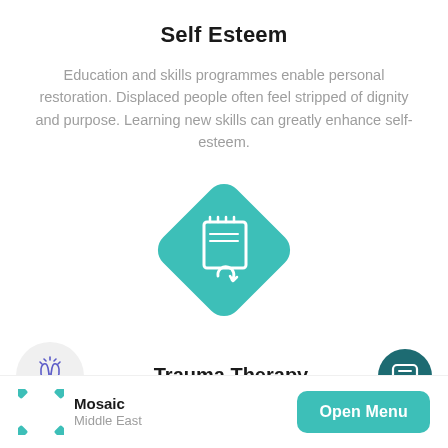Self Esteem
Education and skills programmes enable personal restoration. Displaced people often feel stripped of dignity and purpose. Learning new skills can greatly enhance self-esteem.
[Figure (illustration): Teal diamond-shaped icon containing a white notebook/document with a refresh/sync circular arrow icon below it, representing learning and skills.]
Trauma Therapy
Traumatised refugees, including children, can also
Mosaic Middle East  |  Open Menu